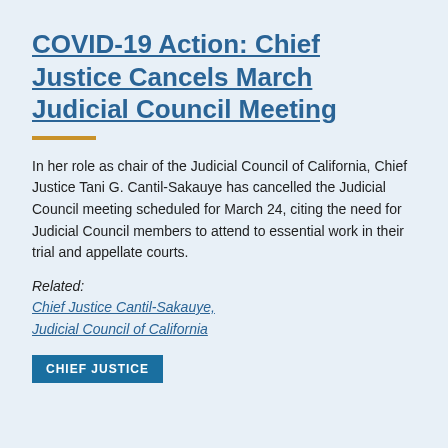COVID-19 Action: Chief Justice Cancels March Judicial Council Meeting
In her role as chair of the Judicial Council of California, Chief Justice Tani G. Cantil-Sakauye has cancelled the Judicial Council meeting scheduled for March 24, citing the need for Judicial Council members to attend to essential work in their trial and appellate courts.
Related:
Chief Justice Cantil-Sakauye,
Judicial Council of California
CHIEF JUSTICE